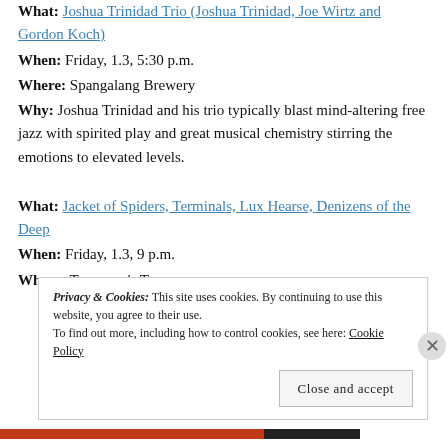What: Joshua Trinidad Trio (Joshua Trinidad, Joe Wirtz and Gordon Koch)
When: Friday, 1.3, 5:30 p.m.
Where: Spangalang Brewery
Why: Joshua Trinidad and his trio typically blast mind-altering free jazz with spirited play and great musical chemistry stirring the emotions to elevated levels.
What: Jacket of Spiders, Terminals, Lux Hearse, Denizens of the Deep
When: Friday, 1.3, 9 p.m.
Where: Tennyson's Tap
Privacy & Cookies: This site uses cookies. By continuing to use this website, you agree to their use. To find out more, including how to control cookies, see here: Cookie Policy
Close and accept